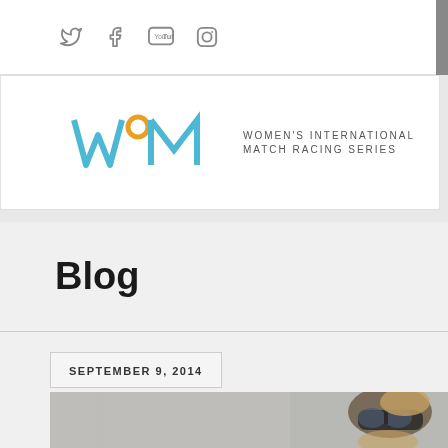Social media icons: Twitter, Facebook, YouTube, Instagram
[Figure (logo): Women's International Match Racing Series logo — stylized WM letters in blue with orange circle, followed by text WOMEN'S INTERNATIONAL MATCH RACING SERIES]
Blog
SEPTEMBER 9, 2014
[Figure (photo): Partial photo of a person wearing sunglasses with blonde hair, blurred background]